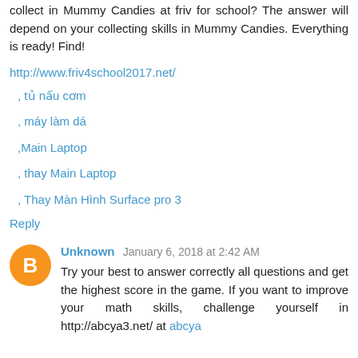collect in Mummy Candies at friv for school? The answer will depend on your collecting skills in Mummy Candies. Everything is ready! Find!
http://www.friv4school2017.net/
, tủ nấu cơm
, máy làm dá
,Main Laptop
, thay Main Laptop
, Thay Màn Hình Surface pro 3
Reply
Unknown January 6, 2018 at 2:42 AM
Try your best to answer correctly all questions and get the highest score in the game. If you want to improve your math skills, challenge yourself in http://abcya3.net/ at abcya